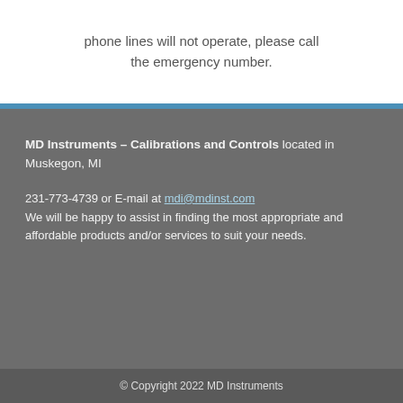phone lines will not operate, please call the emergency number.
MD Instruments – Calibrations and Controls located in Muskegon, MI

231-773-4739 or E-mail at mdi@mdinst.com
We will be happy to assist in finding the most appropriate and affordable products and/or services to suit your needs.
© Copyright 2022 MD Instruments